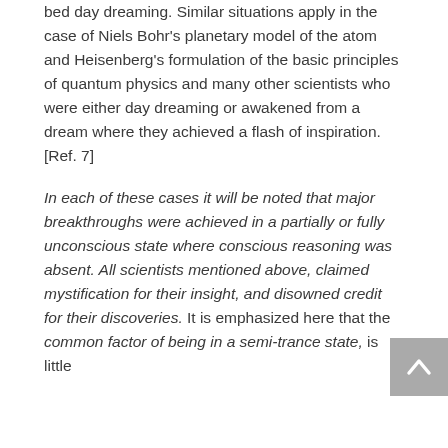bed day dreaming. Similar situations apply in the case of Niels Bohr's planetary model of the atom and Heisenberg's formulation of the basic principles of quantum physics and many other scientists who were either day dreaming or awakened from a dream where they achieved a flash of inspiration. [Ref. 7]
In each of these cases it will be noted that major breakthroughs were achieved in a partially or fully unconscious state where conscious reasoning was absent. All scientists mentioned above, claimed mystification for their insight, and disowned credit for their discoveries. It is emphasized here that the common factor of being in a semi-trance state, is little